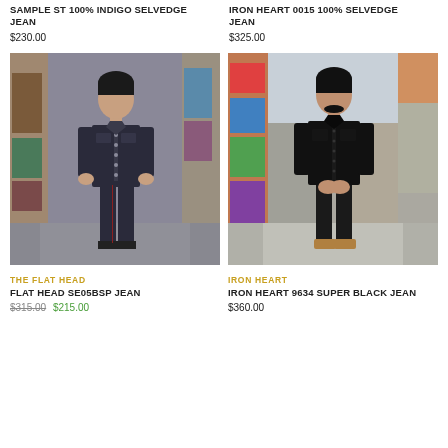SAMPLE ST 100% INDIGO SELVEDGE JEAN
$230.00
IRON HEART 0015 100% SELVEDGE JEAN
$325.00
[Figure (photo): Man wearing dark denim jacket and jeans standing in an alley with street art]
[Figure (photo): Man wearing all black clothing standing in an alley with street art]
THE FLAT HEAD
FLAT HEAD SE05BSP JEAN
$315.00 $215.00
IRON HEART
IRON HEART 9634 SUPER BLACK JEAN
$360.00